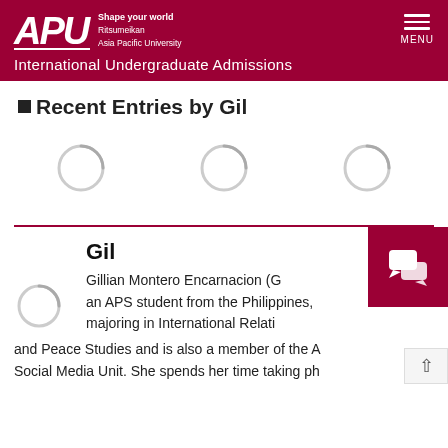APU Shape your world Ritsumeikan Asia Pacific University | International Undergraduate Admissions | MENU
■Recent Entries by Gil
[Figure (illustration): Three loading spinner circles in a row, indicating content loading]
Gil
[Figure (illustration): Loading spinner circle for profile image]
Gillian Montero Encarnacion (G an APS student from the Philippines, majoring in International Relati and Peace Studies and is also a member of the A Social Media Unit. She spends her time taking pl